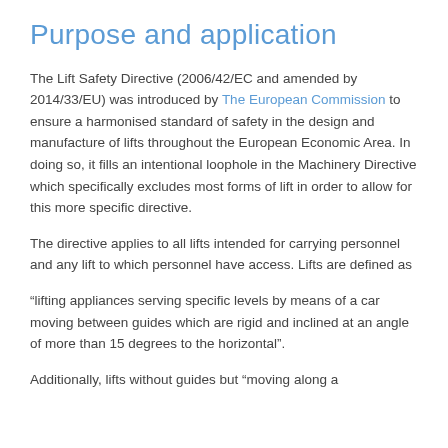Purpose and application
The Lift Safety Directive (2006/42/EC and amended by 2014/33/EU) was introduced by The European Commission to ensure a harmonised standard of safety in the design and manufacture of lifts throughout the European Economic Area. In doing so, it fills an intentional loophole in the Machinery Directive which specifically excludes most forms of lift in order to allow for this more specific directive.
The directive applies to all lifts intended for carrying personnel and any lift to which personnel have access. Lifts are defined as
“lifting appliances serving specific levels by means of a car moving between guides which are rigid and inclined at an angle of more than 15 degrees to the horizontal”.
Additionally, lifts without guides but “moving along a